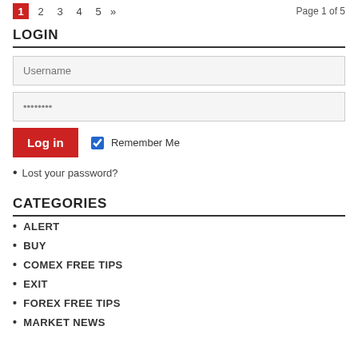1  2  3  4  5  »   Page 1 of 5
LOGIN
Username (input field)
•••••••• (password field)
Log in  ☑ Remember Me
Lost your password?
CATEGORIES
ALERT
BUY
COMEX FREE TIPS
EXIT
FOREX FREE TIPS
MARKET NEWS